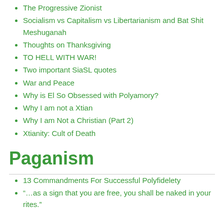The Progressive Zionist
Socialism vs Capitalism vs Libertarianism and Bat Shit Meshuganah
Thoughts on Thanksgiving
TO HELL WITH WAR!
Two important SiaSL quotes
War and Peace
Why is El So Obsessed with Polyamory?
Why I am not a Xtian
Why I am Not a Christian (Part 2)
Xtianity: Cult of Death
Paganism
13 Commandments For Successful Polyfidelety
“…as a sign that you are free, you shall be naked in your rites.”